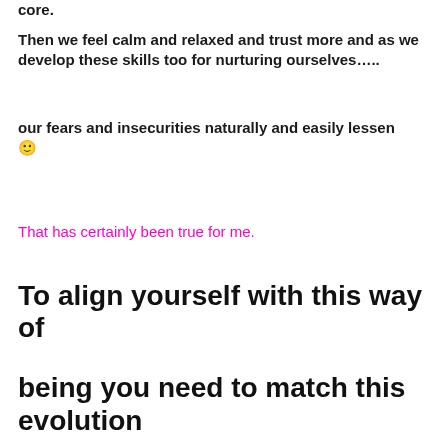core.
Then we feel calm and relaxed and trust more and as we develop these skills too for nurturing ourselves…..
our fears and insecurities naturally and easily lessen 🙂
That has certainly been true for me.
To align yourself with this way of being you need to match this evolution pattern of heart opening and that basically means on